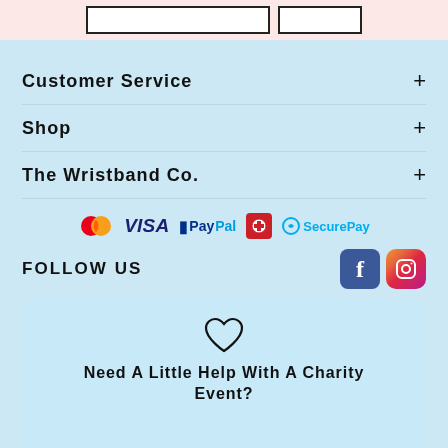[Figure (screenshot): Top pink bar with search input and button]
Customer Service +
Shop +
The Wristband Co. +
[Figure (logo): Payment method logos: Mastercard, VISA, PayPal, Australia Post, SecurePay]
FOLLOW US
[Figure (logo): Social media icons: Facebook and Instagram]
[Figure (illustration): Heart icon above charity event text]
Need A Little Help With A Charity Event?